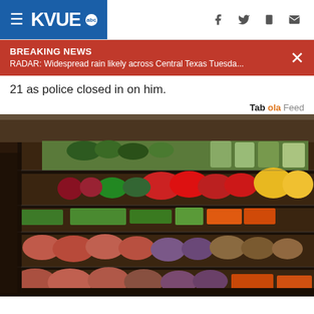KVUE abc
BREAKING NEWS
RADAR: Widespread rain likely across Central Texas Tuesda...
21 as police closed in on him.
Taboola Feed
[Figure (photo): Grocery store produce section showing colorful shelves of vegetables and fruits including peppers, potatoes, carrots, green beans, and other produce.]